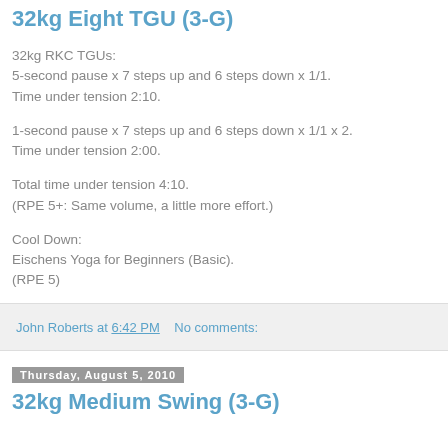32kg Eight TGU (3-G)
32kg RKC TGUs:
5-second pause x 7 steps up and 6 steps down x 1/1.
Time under tension 2:10.
1-second pause x 7 steps up and 6 steps down x 1/1 x 2.
Time under tension 2:00.
Total time under tension 4:10.
(RPE 5+: Same volume, a little more effort.)
Cool Down:
Eischens Yoga for Beginners (Basic).
(RPE 5)
John Roberts at 6:42 PM   No comments:
Thursday, August 5, 2010
32kg Medium Swing (3-G)